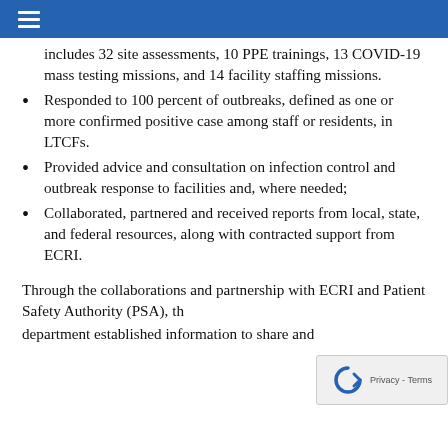≡
includes 32 site assessments, 10 PPE trainings, 13 COVID-19 mass testing missions, and 14 facility staffing missions.
Responded to 100 percent of outbreaks, defined as one or more confirmed positive case among staff or residents, in LTCFs.
Provided advice and consultation on infection control and outbreak response to facilities and, where needed;
Collaborated, partnered and received reports from local, state, and federal resources, along with contracted support from ECRI.
Through the collaborations and partnerships with ECRI and Patient Safety Authority (PSA), the department established information to share...